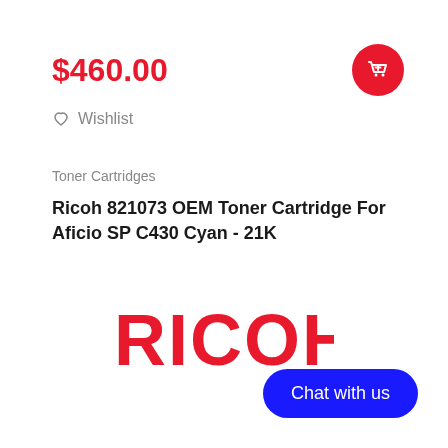$460.00
♡ Wishlist
Toner Cartridges
Ricoh 821073 OEM Toner Cartridge For Aficio SP C430 Cyan - 21K
[Figure (logo): RICOH brand logo in red bold capital letters]
Chat with us